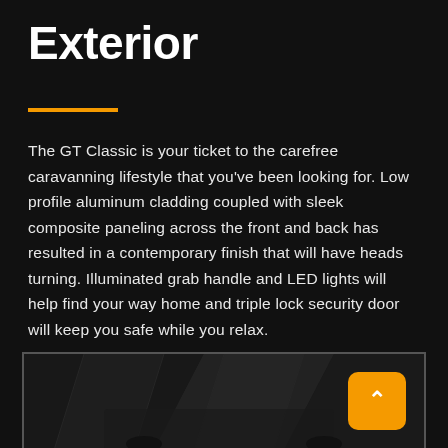Exterior
The GT Classic is your ticket to the carefree caravanning lifestyle that you've been looking for. Low profile aluminum cladding coupled with sleek composite paneling across the front and back has resulted in a contemporary finish that will have heads turning. Illuminated grab handle and LED lights will help find your way home and triple lock security door will keep you safe while you relax.
[Figure (photo): Dark photograph of a caravan exterior, partially visible at the bottom of the page, with geometric dark shapes in the background. An orange rounded-square button with an upward caret arrow is overlaid in the bottom-right corner.]